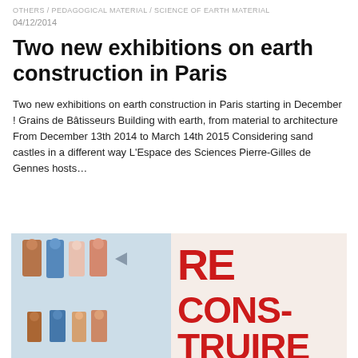OTHERS / PEDAGOGICAL MATERIAL / SCIENCE OF EARTH MATERIAL
04/12/2014
Two new exhibitions on earth construction in Paris
Two new exhibitions on earth construction in Paris starting in December ! Grains de Bâtisseurs Building with earth, from material to architecture From December 13th 2014 to March 14th 2015 Considering sand castles in a different way L'Espace des Sciences Pierre-Gilles de Gennes hosts…
[Figure (photo): Promotional image for an exhibition, left side shows a collage of illustrated human figures in various colors, right side shows large bold red text reading 'RE CONS- TRUIRE']